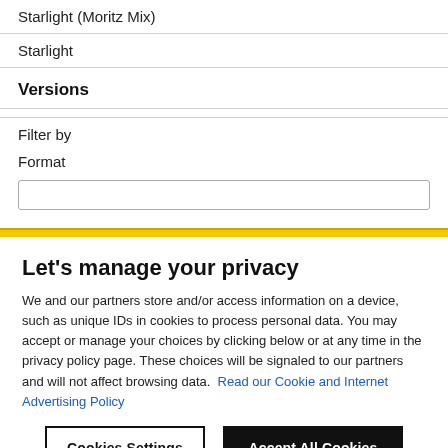Starlight (Moritz Mix)
Starlight
Versions
Filter by
Format
Let's manage your privacy
We and our partners store and/or access information on a device, such as unique IDs in cookies to process personal data. You may accept or manage your choices by clicking below or at any time in the privacy policy page. These choices will be signaled to our partners and will not affect browsing data. Read our Cookie and Internet Advertising Policy
Cookies Settings
Accept All Cookies